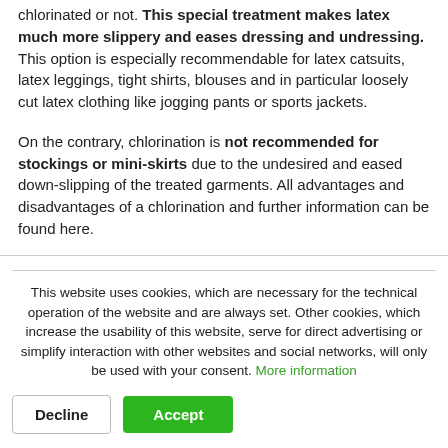chlorinated or not. This special treatment makes latex much more slippery and eases dressing and undressing. This option is especially recommendable for latex catsuits, latex leggings, tight shirts, blouses and in particular loosely cut latex clothing like jogging pants or sports jackets.
On the contrary, chlorination is not recommended for stockings or mini-skirts due to the undesired and eased down-slipping of the treated garments. All advantages and disadvantages of a chlorination and further information can be found here.
Chlorinated rubber - risks and side effects
This website uses cookies, which are necessary for the technical operation of the website and are always set. Other cookies, which increase the usability of this website, serve for direct advertising or simplify interaction with other websites and social networks, will only be used with your consent. More information